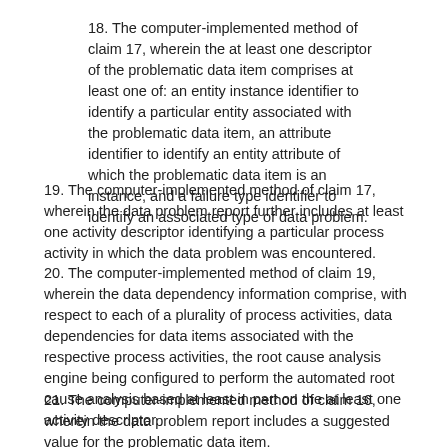18. The computer-implemented method of claim 17, wherein the at least one descriptor of the problematic data item comprises at least one of: an entity instance identifier to identify a particular entity associated with the problematic data item, an attribute identifier to identify an entity attribute of which the problematic data item is an instance, and a failure type identifier to identify an associated type of data problem.
19. The computer-implemented method of claim 17, wherein the data problem report further includes at least one activity descriptor identifying a particular process activity in which the data problem was encountered.
20. The computer-implemented method of claim 19, wherein the data dependency information comprise, with respect to each of a plurality of process activities, data dependencies for data items associated with the respective process activities, the root cause analysis engine being configured to perform the automated root cause analysis based at least in part on the at least one activity descriptor.
21. The computer-implemented method of claim 16, wherein the data problem report includes a suggested value for the problematic data item.
22. The computer-implemented method of claim 17, further comprising